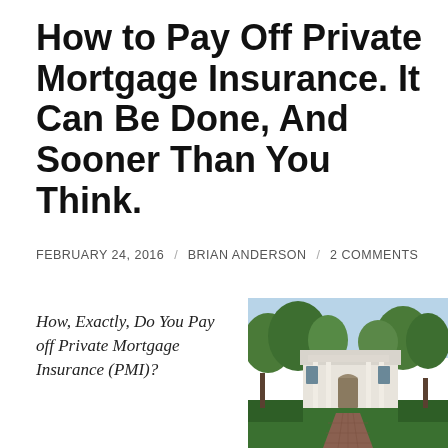How to Pay Off Private Mortgage Insurance. It Can Be Done, And Sooner Than You Think.
FEBRUARY 24, 2016 / BRIAN ANDERSON / 2 COMMENTS
How, Exactly, Do You Pay off Private Mortgage Insurance (PMI)?
[Figure (photo): Exterior photo of a large white colonial-style mansion with columns and portico, surrounded by large oak trees and manicured hedges, with a brick pathway leading to the entrance]